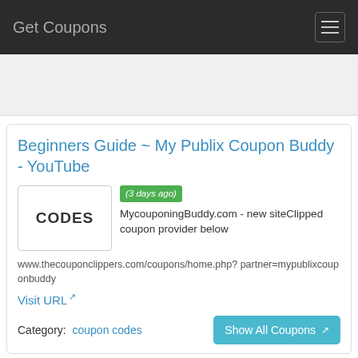Get Coupons
Beginners Guide ~ My Publix Coupon Buddy - YouTube
(3 days ago) MycouponingBuddy.com - new siteClipped coupon provider below
CODES
www.thecouponclippers.com/coupons/home.php?partner=mypublixcouponbuddy
Visit URL
Category: coupon codes